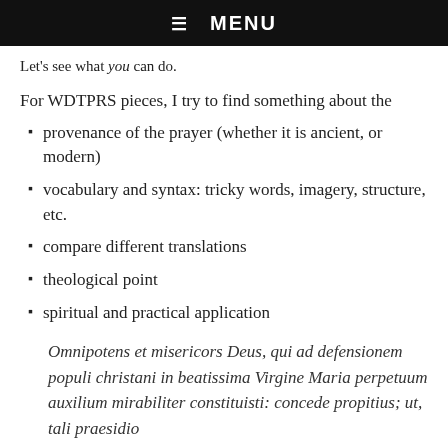☰  MENU
Let's see what you can do.
For WDTPRS pieces, I try to find something about the
provenance of the prayer (whether it is ancient, or modern)
vocabulary and syntax: tricky words, imagery, structure, etc.
compare different translations
theological point
spiritual and practical application
Omnipotens et misericors Deus, qui ad defensionem populi christani in beatissima Virgine Maria perpetuum auxilium mirabiliter constituisti: concede propitius; ut, tali praesidio